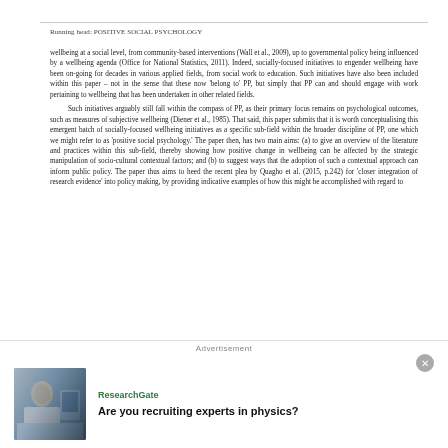Running head: POSITIVE SOCIAL PSYCHOLOGY
wellbeing at a social level, from community-based interventions (Wall et al., 2009), up to governmental policy being influenced by a wellbeing agenda (Office for National Statistics, 2011). Indeed, socially-focused initiatives to engender wellbeing have been on-going for decades in various applied fields, from social work to education. Such initiatives have also been included within this paper – not in the sense that these now 'belong to' PP, but simply that PP can and should engage with work pertaining to wellbeing that has been undertaken in other related fields.
Such initiatives arguably still fall within the compass of PP, as their primary focus remains on psychological outcomes, such as measures of subjective wellbeing (Diener et al., 1985). That said, this paper submits that it is worth conceptualising this emergent batch of socially-focused wellbeing initiatives as a specific sub-field within the broader discipline of PP, one which we might refer to as 'positive social psychology.' The paper then, has two main aims: (a) to give an overview of the literature and practices within this sub-field, thereby showing how positive change in wellbeing can be affected by the strategic manipulation of socio-cultural contextual factors; and (b) to suggest ways that the adoption of such a contextual approach can inform public policy. The paper thus aims to heed the recent plea by Quagho et al. (2015, p.242) for 'closer integration of research evidence' into policy making, by providing indicative examples of how this might be accomplished with regard to
Advertisement
[Figure (photo): Advertisement photo showing two people looking at a screen, ResearchGate branding, with text 'Are you recruiting experts in physics?']